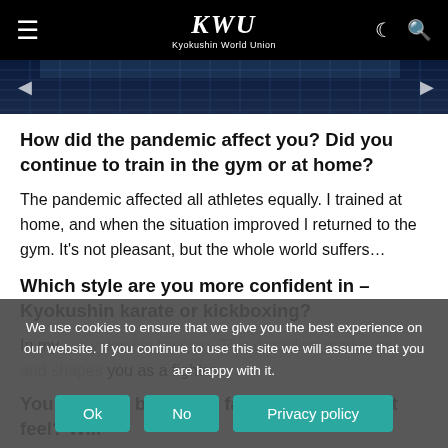KWU — Kyokushin World Union
[Figure (photo): Banner/hero image of a sports arena or stadium with grid-like ceiling lights, dark blue toned]
How did the pandemic affect you? Did you continue to train in the gym or at home?
The pandemic affected all athletes equally. I trained at home, and when the situation improved I returned to the gym. It's not pleasant, but the whole world suffers…
Which style are you more confident in – Kyokushin karate or kickboxing?
In my… Kyokushin training. This discipline marks you and shapes you as a fighter.
You recently became a father – how does it feel? Will
We use cookies to ensure that we give you the best experience on our website. If you continue to use this site we will assume that you are happy with it.